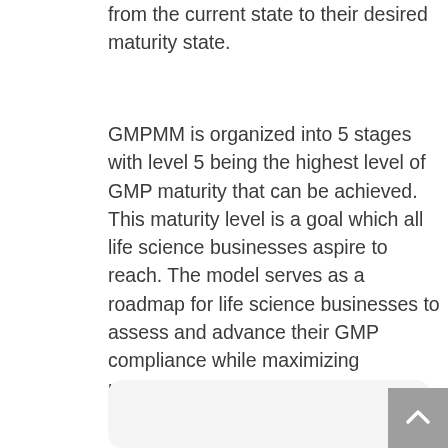from the current state to their desired maturity state.
GMPMM is organized into 5 stages with level 5 being the highest level of GMP maturity that can be achieved. This maturity level is a goal which all life science businesses aspire to reach. The model serves as a roadmap for life science businesses to assess and advance their GMP compliance while maximizing productivity and profitability.
[Figure (other): Rounded rectangle content box (partially visible at bottom of page) with a scroll-to-top button in the bottom-right corner.]